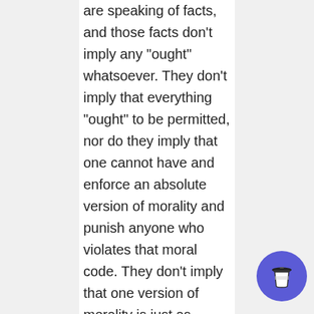are speaking of facts, and those facts don’t imply any “ought” whatsoever. They don’t imply that everything “ought” to be permitted, nor do they imply that one cannot have and enforce an absolute version of morality and punish anyone who violates that moral code. They don’t imply that one version of morality is just as “good” as another version, for the simple reason that the category